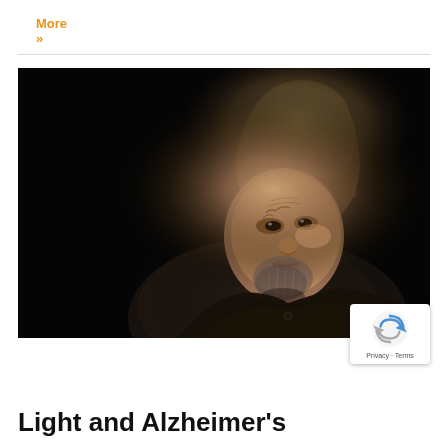More »
[Figure (photo): An elderly man with a weathered face, wearing a brown knit beanie hat and dark jacket, photographed in low-key dramatic lighting against a very dark background. He has deep wrinkles, a short grey beard, and is looking slightly downward.]
Light and Alzheimer's